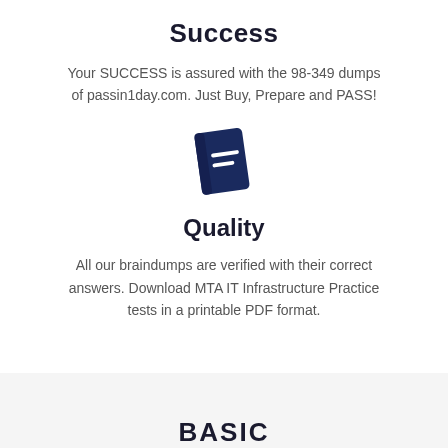Success
Your SUCCESS is assured with the 98-349 dumps of passin1day.com. Just Buy, Prepare and PASS!
[Figure (illustration): Dark navy blue book icon with two horizontal white lines on the cover, slightly tilted]
Quality
All our braindumps are verified with their correct answers. Download MTA IT Infrastructure Practice tests in a printable PDF format.
BASIC